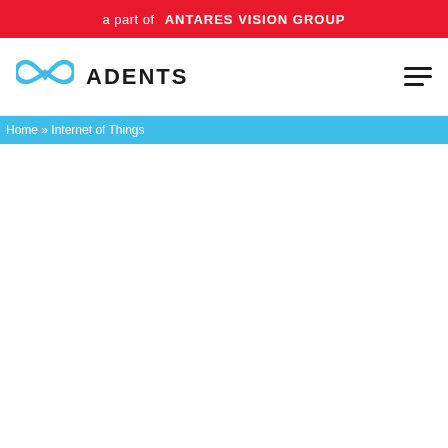a part of ANTARES VISION GROUP
[Figure (logo): Adents logo with infinity-style blue swirl icon and ADENTS wordmark in dark text]
Home » Internet of Things